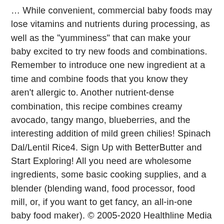… While convenient, commercial baby foods may lose vitamins and nutrients during processing, as well as the “yumminess” that can make your baby excited to try new foods and combinations. Remember to introduce one new ingredient at a time and combine foods that you know they aren’t allergic to. Another nutrient-dense combination, this recipe combines creamy avocado, tangy mango, blueberries, and the interesting addition of mild green chilies! Spinach Dal/Lentil Rice4. Sign Up with BetterButter and Start Exploring! All you need are wholesome ingredients, some basic cooking supplies, and a blender (blending wand, food processor, food mill, or, if you want to get fancy, an all-in-one baby food maker). © 2005-2020 Healthline Media a Red Ventures Company. This can help you to spot and identify a food allergy or sensitivity. Learn How to Make Homemade Apple Puree & 8 other healthy Baby Foods for 4, 6, 8 and 10 Month baby. To the New Dad with Postpartum